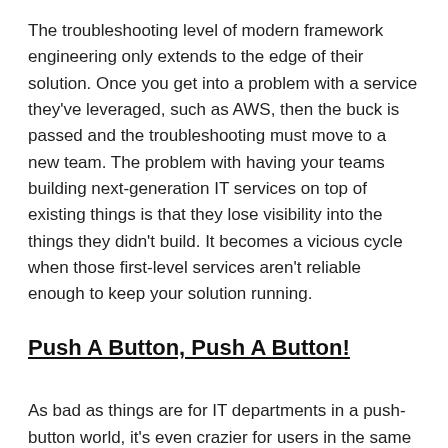The troubleshooting level of modern framework engineering only extends to the edge of their solution. Once you get into a problem with a service they've leveraged, such as AWS, then the buck is passed and the troubleshooting must move to a new team. The problem with having your teams building next-generation IT services on top of existing things is that they lose visibility into the things they didn't build. It becomes a vicious cycle when those first-level services aren't reliable enough to keep your solution running.
Push A Button, Push A Button!
As bad as things are for IT departments in a push-button world, it's even crazier for users in the same boat. That's because users understand two extremes of service